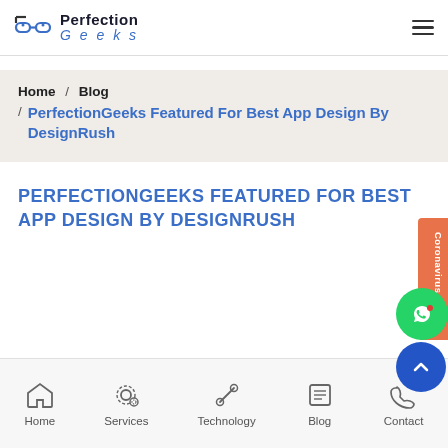Perfection Geeks
Home / Blog / PerfectionGeeks Featured For Best App Design By DesignRush
PERFECTIONGEEKS FEATURED FOR BEST APP DESIGN BY DESIGNRUSH
Home | Services | Technology | Blog | Contact